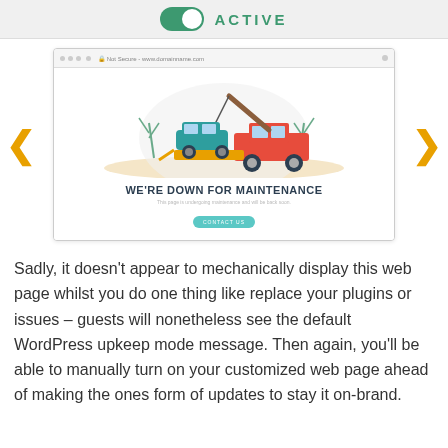[Figure (screenshot): Toggle switch showing ACTIVE state in green]
[Figure (screenshot): Browser window screenshot showing a maintenance page with a tow truck illustration and text 'WE'RE DOWN FOR MAINTENANCE', with navigation arrows on left and right sides]
Sadly, it doesn't appear to mechanically display this web page whilst you do one thing like replace your plugins or issues – guests will nonetheless see the default WordPress upkeep mode message. Then again, you'll be able to manually turn on your customized web page ahead of making the ones form of updates to stay it on-brand.